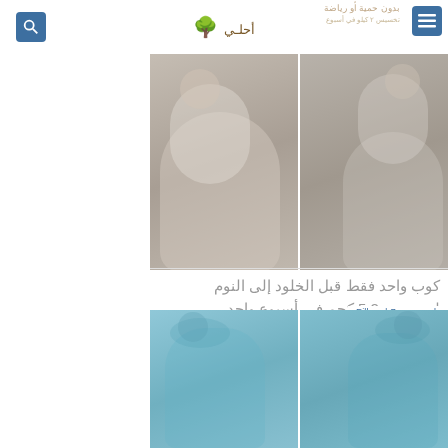بدون حمية أو رياضة
[Figure (photo): Two women in white/grey outfits shown side by side, a before/after style comparison photo]
كوب واحد فقط قبل الخلود إلى النوم لتخسيس 5.2 كجم في أسبوع واحد
Pillear | Sponsored
[Figure (photo): Two women in light blue outfits shown side by side, a before/after style weight loss comparison photo]